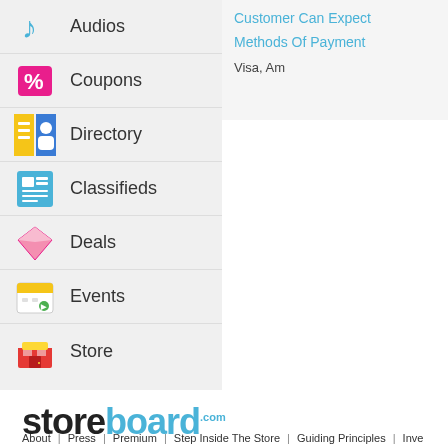Audios
Coupons
Directory
Classifieds
Deals
Events
Store
Customer Can Expect
Methods Of Payment
Visa, Am...
[Figure (logo): Storeboard.com logo with black 'store' text and blue 'board' text]
About | Press | Premium | Step Inside The Store | Guiding Principles | Inve...